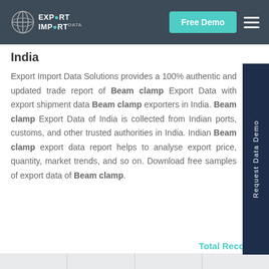Export Import Data — Free Demo
India
Export Import Data Solutions provides a 100% authentic and updated trade report of Beam clamp Export Data with export shipment data Beam clamp exporters in India. Beam clamp Export Data of India is collected from Indian ports, customs, and other trusted authorities in India. Indian Beam clamp export data report helps to analyse export price, quantity, market trends, and so on. Download free samples of export data of Beam clamp.
[Figure (other): Vertical sidebar tab with text 'Request Data Demo' rotated 90 degrees, dark navy background]
Total Records